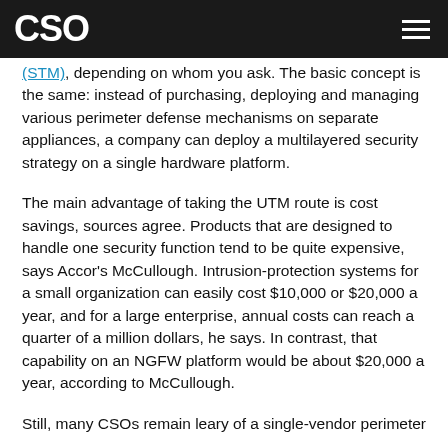CSO
(STM), depending on whom you ask. The basic concept is the same: instead of purchasing, deploying and managing various perimeter defense mechanisms on separate appliances, a company can deploy a multilayered security strategy on a single hardware platform.
The main advantage of taking the UTM route is cost savings, sources agree. Products that are designed to handle one security function tend to be quite expensive, says Accor's McCullough. Intrusion-protection systems for a small organization can easily cost $10,000 or $20,000 a year, and for a large enterprise, annual costs can reach a quarter of a million dollars, he says. In contrast, that capability on an NGFW platform would be about $20,000 a year, according to McCullough.
Still, many CSOs remain leary of a single-vendor perimeter